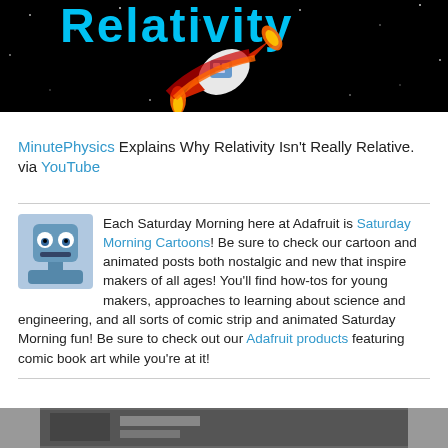[Figure (illustration): Banner image with dark space background showing a cartoon robot on a rocket ship with flame exhaust. Cyan/blue stylized text reading 'Relativity' at top.]
MinutePhysics Explains Why Relativity Isn't Really Relative. via YouTube
Each Saturday Morning here at Adafruit is Saturday Morning Cartoons! Be sure to check our cartoon and animated posts both nostalgic and new that inspire makers of all ages! You'll find how-tos for young makers, approaches to learning about science and engineering, and all sorts of comic strip and animated Saturday Morning fun! Be sure to check out our Adafruit products featuring comic book art while you're at it!
[Figure (photo): Bottom partial image, appears to be another article preview image.]